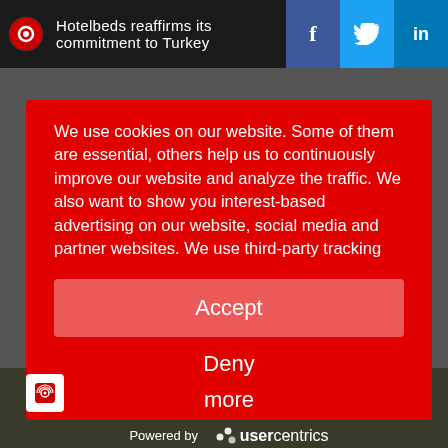Hotelbeds reaffirms its commitment to Turkey
We use cookies on our website. Some of them are essential, others help us to continuously improve our website and analyze the traffic. We also want to show you interest-based advertising on our website, social media and partner websites. We use third-party tracking
Accept
Deny
more
Powered by usercentrics
Imprint | Privacy Policy